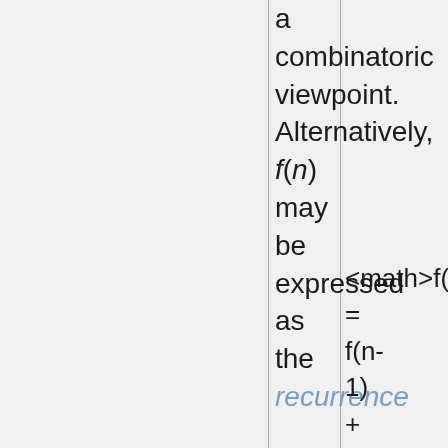a combinatoric viewpoint. Alternatively, f(n) may be expressed as the recurrence